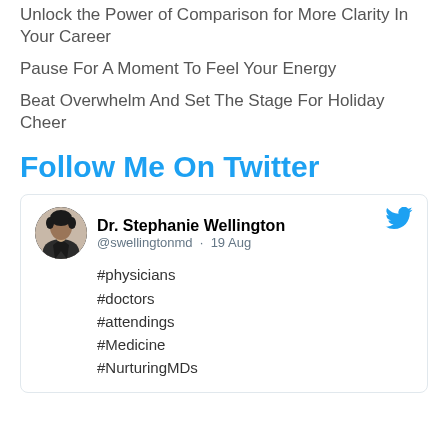Unlock the Power of Comparison for More Clarity In Your Career
Pause For A Moment To Feel Your Energy
Beat Overwhelm And Set The Stage For Holiday Cheer
Follow Me On Twitter
[Figure (screenshot): Tweet card from Dr. Stephanie Wellington (@swellingtonmd) dated 19 Aug with hashtags #physicians #doctors #attendings #Medicine #NurturingMDs and Twitter bird logo]
#physicians
#doctors
#attendings
#Medicine
#NurturingMDs